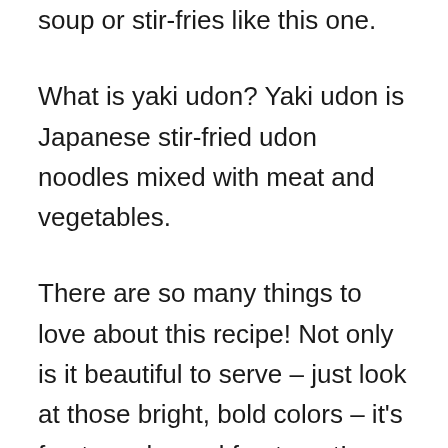soup or stir-fries like this one.
What is yaki udon? Yaki udon is Japanese stir-fried udon noodles mixed with meat and vegetables.
There are so many things to love about this recipe! Not only is it beautiful to serve – just look at those bright, bold colors – it's fun to make and fun to eat! Even better, it is